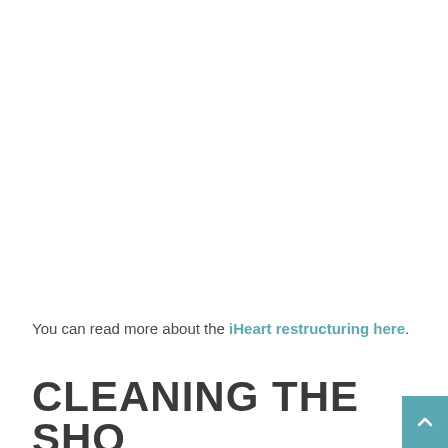You can read more about the iHeart restructuring here.
CLEANING THE SHOWER